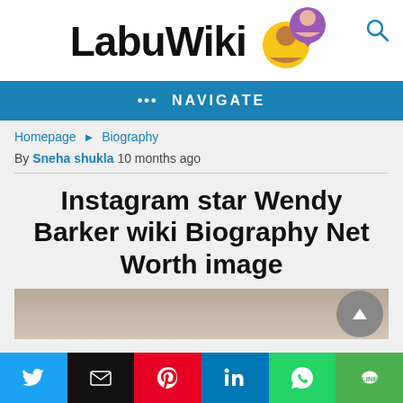[Figure (logo): LabuWiki logo with cartoon avatar icons and search magnifying glass]
••• NAVIGATE
Homepage ▶ Biography
By Sneha shukla 10 months ago
Instagram star Wendy Barker wiki Biography Net Worth image
[Figure (photo): Partial photo of Wendy Barker against a brick wall background]
[Figure (infographic): Social share buttons: Twitter, Email, Pinterest, LinkedIn, WhatsApp, Line]